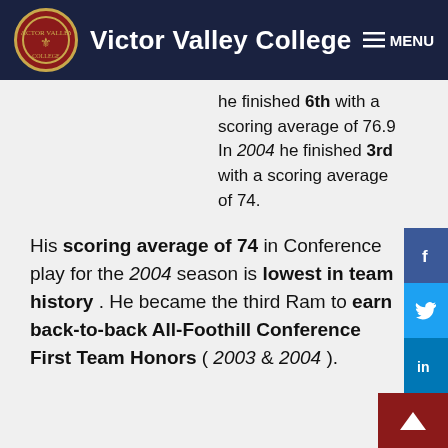Victor Valley College
he finished 6th with a scoring average of 76.9 In 2004 he finished 3rd with a scoring average of 74.
His scoring average of 74 in Conference play for the 2004 season is lowest in team history . He became the third Ram to earn back-to-back All-Foothill Conference First Team Honors ( 2003 & 2004 ).